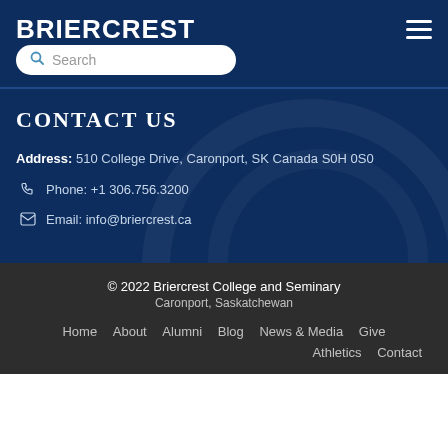BRIERCREST
Search
CONTACT US
Address: 510 College Drive, Caronport, SK Canada S0H 0S0
Phone: +1 306.756.3200
Email: info@briercrest.ca
© 2022 Briercrest College and Seminary
Caronport, Saskatchewan

Home  About  Alumni  Blog  News & Media  Give

Athletics  Contact